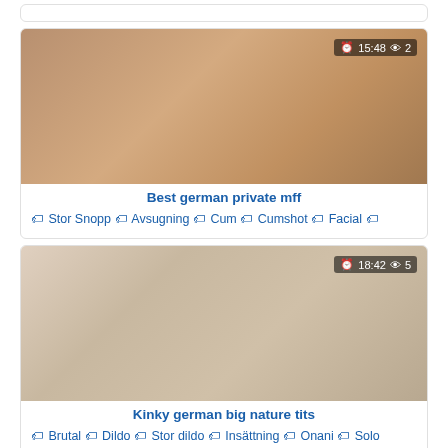[Figure (photo): Top card stub, partially visible]
[Figure (photo): Video thumbnail showing group scene, overlay badge: 15:48 clock icon, eye icon 2]
Best german private mff
Stor Snopp  Avsugning  Cum  Cumshot  Facial
[Figure (photo): Video thumbnail showing blonde woman scene, overlay badge: 18:42 clock icon, eye icon 5]
Kinky german big nature tits
Brutal  Dildo  Stor dildo  Insättning  Onani  Solo